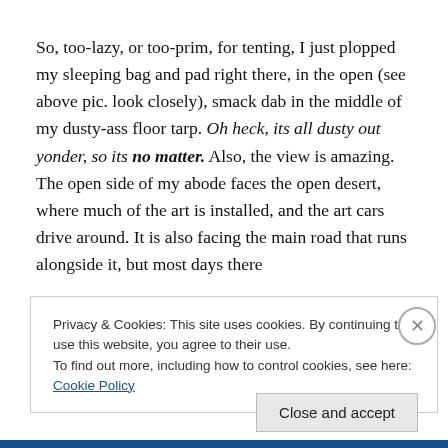So, too-lazy, or too-prim, for tenting, I just plopped my sleeping bag and pad right there, in the open (see above pic. look closely), smack dab in the middle of my dusty-ass floor tarp. Oh heck, its all dusty out yonder, so its no matter. Also, the view is amazing. The open side of my abode faces the open desert, where much of the art is installed, and the art cars drive around. It is also facing the main road that runs alongside it, but most days there
Privacy & Cookies: This site uses cookies. By continuing to use this website, you agree to their use.
To find out more, including how to control cookies, see here: Cookie Policy
Close and accept